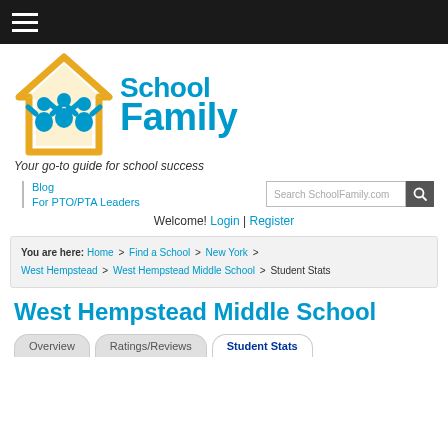SchoolFamily — navigation bar
[Figure (logo): SchoolFamily logo with yellow house icon and blue text reading School Family, tagline: Your go-to guide for school success]
Blog | For PTO/PTA Leaders | Search SchoolFamily.com
Welcome! Login | Register
You are here: Home > Find a School > New York > West Hempstead > West Hempstead Middle School > Student Stats
West Hempstead Middle School
Overview | Ratings/Reviews | Student Stats